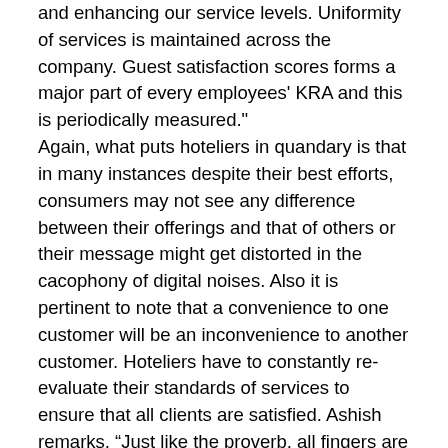and enhancing our service levels. Uniformity of services is maintained across the company. Guest satisfaction scores forms a major part of every employees' KRA and this is periodically measured."
Again, what puts hoteliers in quandary is that in many instances despite their best efforts, consumers may not see any difference between their offerings and that of others or their message might get distorted in the cacophony of digital noises. Also it is pertinent to note that a convenience to one customer will be an inconvenience to another customer. Hoteliers have to constantly re-evaluate their standards of services to ensure that all clients are satisfied. Ashish remarks, “Just like the proverb, all fingers are not the same, likewise, every guest has a unique personality and expectation. There is no fool-proof mechanism or process to ensure 100% guest satisfaction. There is bound to be some challenges in being able to achieve this. However, with